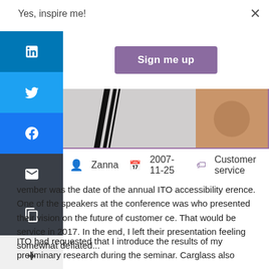Yes, inspire me!
[Figure (screenshot): Sign me up button (purple/mauve) in a modal popup with close X button]
[Figure (photo): Partial cropped photo of a person at conference/seminar, partially obscured by social share sidebar]
Zanna   2007-11-25   Customer service
vember was the date of the annual ITO accessibility erence. One of the speakers at the conference was who presented their vision on the future of customer ce. That would be service in 2017. In the end, I left their presentation feeling somewhat deflated...
ITO had requested that I introduce the results of my preliminary research during the seminar. Carglass also